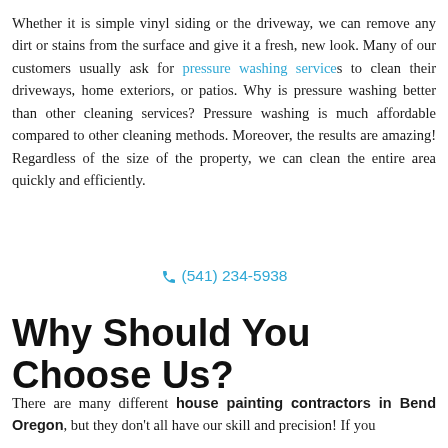Whether it is simple vinyl siding or the driveway, we can remove any dirt or stains from the surface and give it a fresh, new look. Many of our customers usually ask for pressure washing services to clean their driveways, home exteriors, or patios. Why is pressure washing better than other cleaning services? Pressure washing is much affordable compared to other cleaning methods. Moreover, the results are amazing! Regardless of the size of the property, we can clean the entire area quickly and efficiently.
☎ (541) 234-5938
Why Should You Choose Us?
There are many different house painting contractors in Bend Oregon, but they don't all have our skill and precision! If you